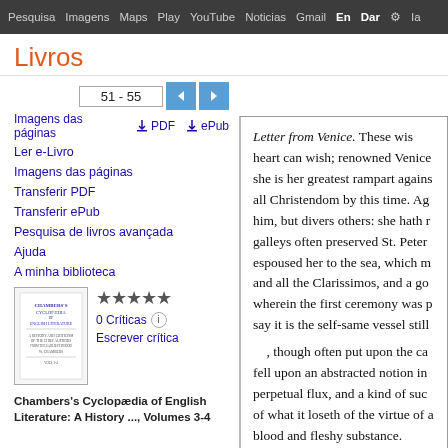Pesquisa  Imagens  Maps  Play  YouTube  Noticias  Gmail  Entrar  Definições
Livros
Ler e-Livro
Imagens das páginas
Transferir PDF
Transferir ePub
Pesquisa de livros avançada
Ajuda
A minha biblioteca
0 Críticas
Escrever crítica
Chambers's Cyclopædia of English Literature: A History ..., Volumes 3-4
51 - 55
Imagens das páginas   PDF   ePub
Letter from Venice. These wis heart can wish; renowned Venice she is her greatest rampart agains all Christendom by this time. Ag him, but divers others: she hath r galleys often preserved St. Peter espoused her to the sea, which m and all the Clarissimos, and a go wherein the first ceremony was p say it is the self-same vessel still , though often put upon the ca fell upon an abstracted notion in perpetual flux, and a kind of suc of what it loseth of the virtue of a blood and fleshy substance.